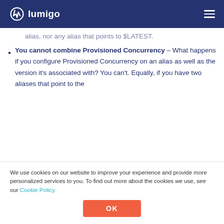lumigo
alias, nor any alias that points to $LATEST.
You cannot combine Provisioned Concurrency – What happens if you configure Provisioned Concurrency on an alias as well as the version it's associated with? You can't. Equally, if you have two aliases that point to the same version...
We use cookies on our website to improve your experience and provide more personalized services to you. To find out more about the cookies we use, see our Cookie Policy.
OK